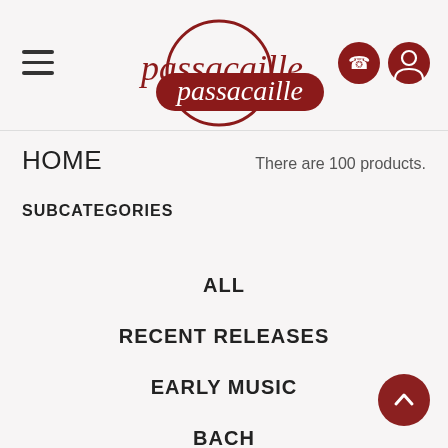[Figure (logo): Passacaille music store logo — circular dark red outline with 'passacaille' italic script text in dark red, with a dark red horizontal pill/banner shape behind the text]
HOME
There are 100 products.
SUBCATEGORIES
ALL
RECENT RELEASES
EARLY MUSIC
BACH
MOZART & CO